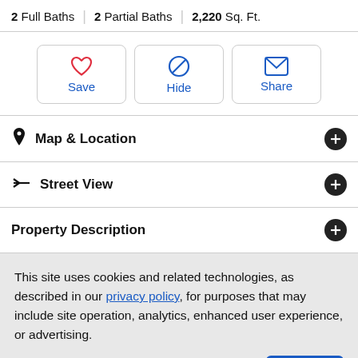2 Full Baths | 2 Partial Baths | 2,220 Sq. Ft.
[Figure (screenshot): Three action buttons: Save (heart icon), Hide (circle-slash icon), Share (envelope icon)]
Map & Location
Street View
Property Description
This site uses cookies and related technologies, as described in our privacy policy, for purposes that may include site operation, analytics, enhanced user experience, or advertising.
Manage Preferences | Accept